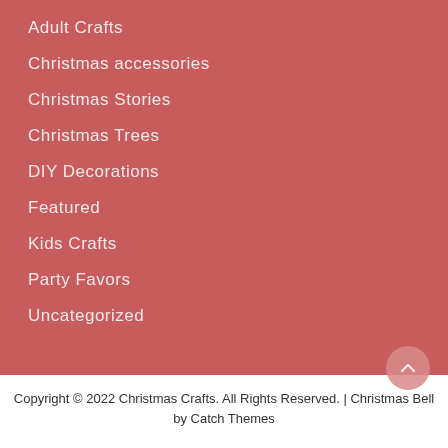Adult Crafts
Christmas accessories
Christmas Stories
Christmas Trees
DIY Decorations
Featured
Kids Crafts
Party Favors
Uncategorized
Copyright © 2022 Christmas Crafts. All Rights Reserved. | Christmas Bell by Catch Themes